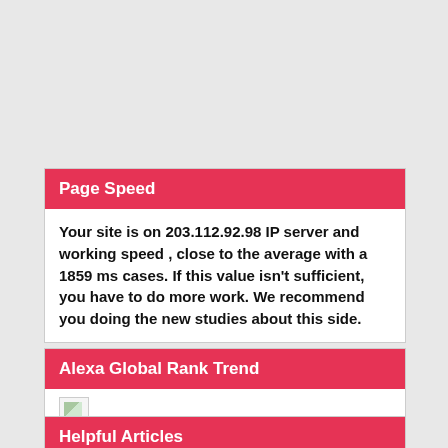Page Speed
Your site is on 203.112.92.98 IP server and working speed , close to the average with a 1859 ms cases. If this value isn't sufficient, you have to do more work. We recommend you doing the new studies about this side.
Alexa Global Rank Trend
[Figure (other): Broken image placeholder for Alexa Global Rank Trend chart]
Helpful Articles